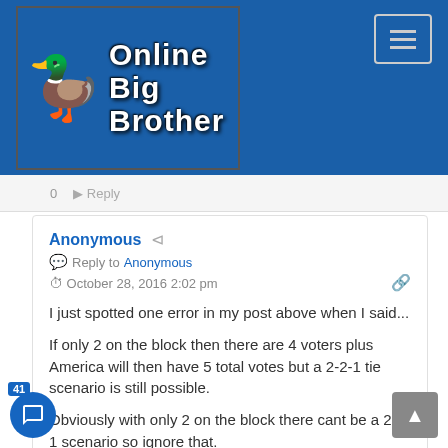Online Big Brother
0   Reply
Anonymous
Reply to Anonymous
October 28, 2016 2:02 pm
I just spotted one error in my post above when I said...

If only 2 on the block then there are 4 voters plus America will then have 5 total votes but a 2-2-1 tie scenario is still possible.

Obviously with only 2 on the block there cant be a 2-2-1 scenario so ignore that.

So the only tie at f8 would be with 3 on the block and 4 total votes 2-2-0